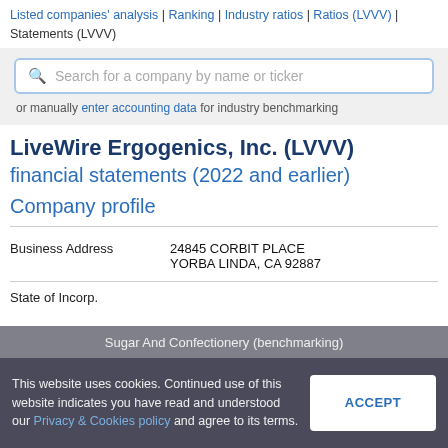Listed companies' analysis | Ranking | Industry ratios | Ratios (LVVV) | Statements (LVVV)
Search for a company by name or ticker
or manually enter accounting data for industry benchmarking
LiveWire Ergogenics, Inc. (LVVV) financial statements (2022 and earlier)
Company profile
|  |  |
| --- | --- |
| Business Address | 24845 CORBIT PLACE
YORBA LINDA, CA 92887 |
| State of Incorp. |  |
This website uses cookies. Continued use of this website indicates you have read and understood our Privacy & Cookies policy and agree to its terms.
ACCEPT